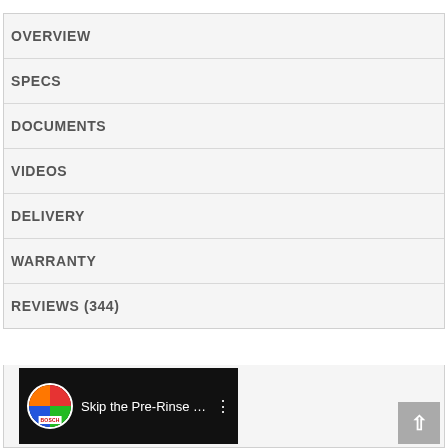OVERVIEW
SPECS
DOCUMENTS
VIDEOS
DELIVERY
WARRANTY
REVIEWS (344)
[Figure (screenshot): Video thumbnail showing a Bosch dishwasher promotional video titled 'Skip the Pre-Rinse with ...' with a colorful circular Bosch logo icon, on a dark background, with a three-dot menu icon and a scroll-to-top button.]